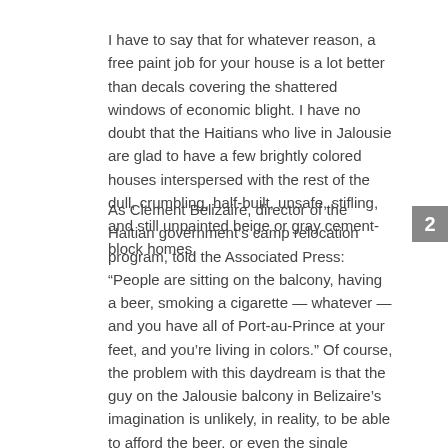I have to say that for whatever reason, a free paint job for your house is a lot better than decals covering the shattered windows of economic blight. I have no doubt that the Haitians who live in Jalousie are glad to have a few brightly colored houses interspersed with the rest of the dull, crumbling, half-built, unsafe, stifling, and still unpainted beige or gray cement-block homes.
As Clement Belizaire, director of the Haitian government's camp relocation program, told the Associated Press: “People are sitting on the balcony, having a beer, smoking a cigarette — whatever — and you have all of Port-au-Prince at your feet, and you’re living in colors.” Of course, the problem with this daydream is that the guy on the Jalousie balcony in Belizaire’s imagination is unlikely, in reality, to be able to afford the beer, or even the single cigarette (that’s how cigarettes are often sold in Haiti).
2